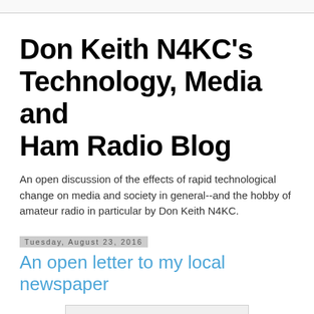Don Keith N4KC's Technology, Media and Ham Radio Blog
An open discussion of the effects of rapid technological change on media and society in general--and the hobby of amateur radio in particular by Don Keith N4KC.
Tuesday, August 23, 2016
An open letter to my local newspaper
[Figure (photo): Partial image of a newspaper or letter, visible at the bottom of the page]